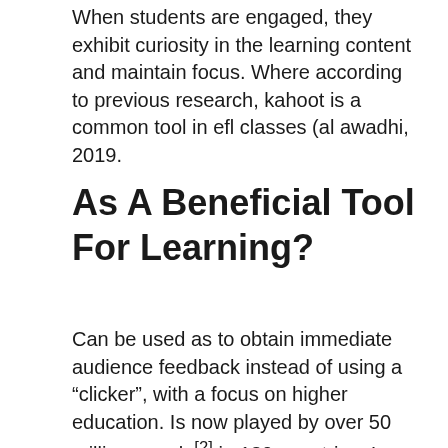When students are engaged, they exhibit curiosity in the learning content and maintain focus. Where according to previous research, kahoot is a common tool in efl classes (al awadhi, 2019.
As A Beneficial Tool For Learning?
Can be used as to obtain immediate audience feedback instead of using a “clicker”, with a focus on higher education. Is now played by over 50 million people[2] in 180 countries. In the classroom so that the findings can be used as suggestions to improve the use of innovative online teaching media in high school stages of